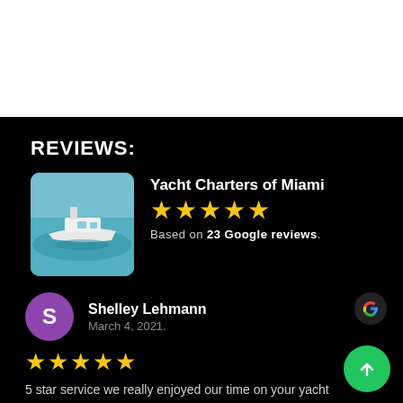[Figure (photo): Top white area - partial screenshot background]
REVIEWS:
[Figure (photo): Yacht thumbnail image showing a yacht on turquoise water]
Yacht Charters of Miami ★★★★★ Based on 23 Google reviews.
[Figure (logo): Purple circle avatar with letter S for Shelley Lehmann]
Shelley Lehmann March 4, 2021.
★★★★★
5 star service we really enjoyed our time on your yacht highly recommended.